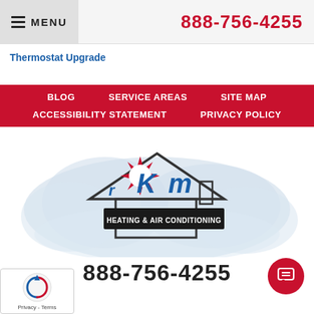MENU   888-756-4255
Thermostat Upgrade
BLOG   SERVICE AREAS   SITE MAP   ACCESSIBILITY STATEMENT   PRIVACY POLICY
[Figure (logo): RKM Heating & Air Conditioning logo with cloud background and sun/house graphic]
888-756-4255